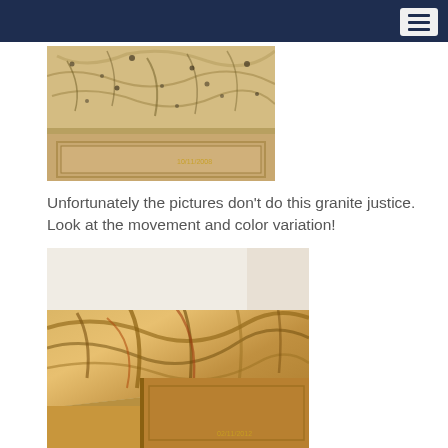[Figure (photo): Close-up photo of a granite countertop with golden/beige tones and dark speckles, installed on wooden cabinetry. A date stamp reads 10/11/2008.]
Unfortunately the pictures don't do this granite justice.  Look at the movement and color variation!
[Figure (photo): Photo of a granite countertop corner with rich golden, amber, and rust-colored veining and movement, installed on honey-toned wooden cabinets. A date stamp reads 02/11/2012.]